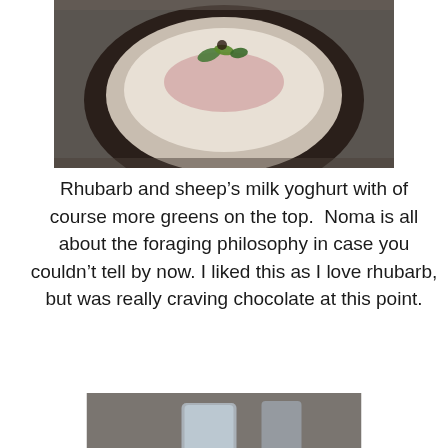[Figure (photo): A dark bowl containing rhubarb and sheep's milk yoghurt with greens on top, photographed on a table surface. Top portion of image is cropped.]
Rhubarb and sheep’s milk yoghurt with of course more greens on the top.  Noma is all about the foraging philosophy in case you couldn’t tell by now. I liked this as I love rhubarb, but was really craving chocolate at this point.
[Figure (photo): A white bowl on a table with a deep red/purple sauce or liquid in the center, with a water glass and another vessel visible in the background.]